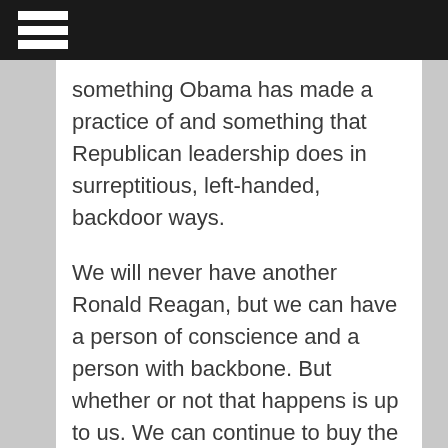something Obama has made a practice of and something that Republican leadership does in surreptitious, left-handed, backdoor ways.
We will never have another Ronald Reagan, but we can have a person of conscience and a person with backbone. But whether or not that happens is up to us. We can continue to buy the lie of party hierarchy that promotes worthless candidates like Romney and Jeb